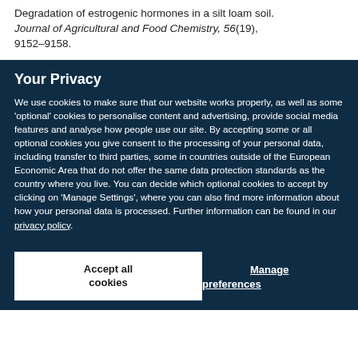Degradation of estrogenic hormones in a silt loam soil. Journal of Agricultural and Food Chemistry, 56(19), 9152–9158.
Your Privacy
We use cookies to make sure that our website works properly, as well as some 'optional' cookies to personalise content and advertising, provide social media features and analyse how people use our site. By accepting some or all optional cookies you give consent to the processing of your personal data, including transfer to third parties, some in countries outside of the European Economic Area that do not offer the same data protection standards as the country where you live. You can decide which optional cookies to accept by clicking on 'Manage Settings', where you can also find more information about how your personal data is processed. Further information can be found in our privacy policy.
Accept all cookies
Manage preferences